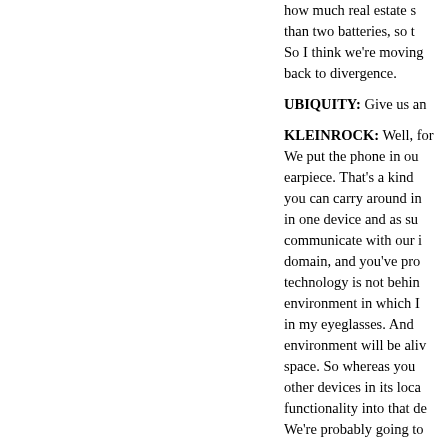how much real estate s than two batteries, so t So I think we're moving back to divergence.
UBIQUITY: Give us an
KLEINROCK: Well, for We put the phone in ou earpiece. That's a kind you can carry around in in one device and as su communicate with our i domain, and you've pro technology is not behin environment in which I in my eyeglasses. And environment will be aliv space. So whereas you other devices in its loca functionality into that de We're probably going to move.
UBIQUITY: Then noma
KLEINROCK: Yes, anc the environment of dev The second is ubiquity, from A to B, then I'm ac